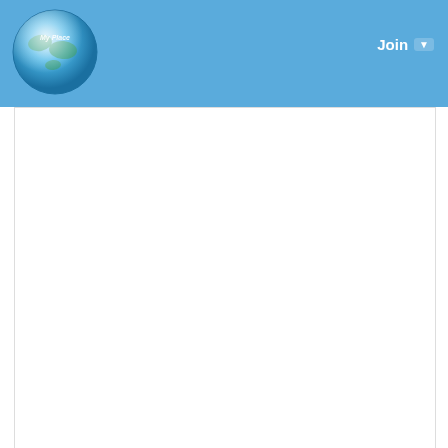MyPlace | Join
[Figure (logo): MyPlace globe logo in blue header bar]
CATEGORIES
ART
TECHNOLOGY
BUSINESS
DANCE
DRINKS
FILM
FITNESS
FOOD
GAMES
GARDENING
HEALTH
HOME
LITERATURE